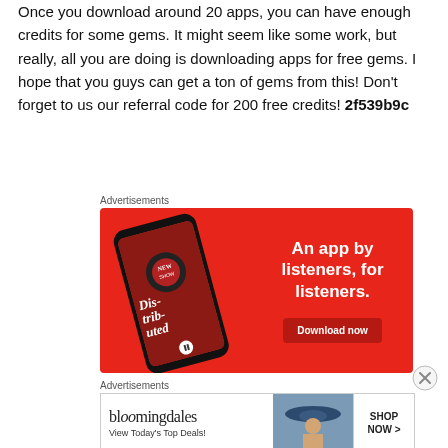Once you download around 20 apps, you can have enough credits for some gems. It might seem like some work, but really, all you are doing is downloading apps for free gems. I hope that you guys can get a ton of gems from this! Don't forget to us our referral code for 200 free credits! 2f539b9c
[Figure (infographic): Red advertisement banner for a podcast app showing a smartphone with 'Dis-trib-uted' podcast cover, text 'An app by listeners, for listeners.' and a 'Download now' button]
[Figure (infographic): Bloomingdale's advertisement banner with logo, 'View Today's Top Deals!' tagline, image of woman in hat, and 'SHOP NOW >' button]